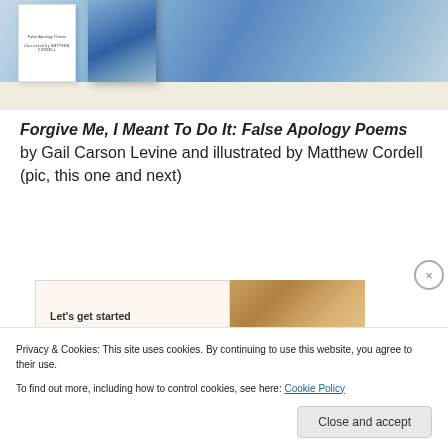[Figure (photo): Photo of two books on a white surface against a blue-painted background. One book is white with italic text 'False Apology Poems' and author name 'Matthew Cordell', another book shows a blue abstract painted cover.]
Forgive Me, I Meant To Do It: False Apology Poems by Gail Carson Levine and illustrated by Matthew Cordell (pic, this one and next)
[Figure (screenshot): A widget or signup box showing 'Let's get started' text on the left and a photo of hands on the right.]
Privacy & Cookies: This site uses cookies. By continuing to use this website, you agree to their use.
To find out more, including how to control cookies, see here: Cookie Policy
Close and accept